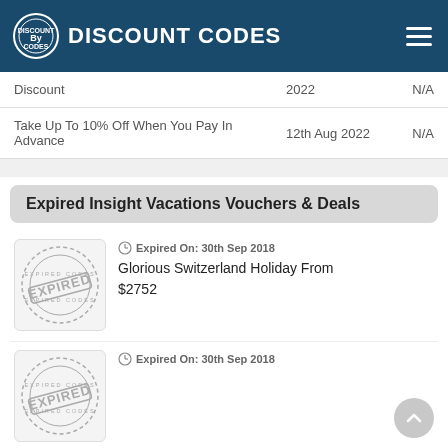DISCOUNT CODES
| Description | Date | Code |
| --- | --- | --- |
| Discount | 2022 | N/A |
| Take Up To 10% Off When You Pay In Advance | 12th Aug 2022 | N/A |
Expired Insight Vacations Vouchers & Deals
[Figure (illustration): Expired stamp circular logo]
Expired On: 30th Sep 2018
Glorious Switzerland Holiday From $2752
[Figure (illustration): Expired stamp circular logo]
Expired On: 30th Sep 2018